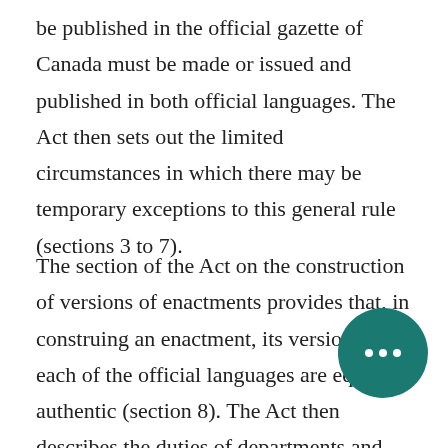be published in the official gazette of Canada must be made or issued and published in both official languages. The Act then sets out the limited circumstances in which there may be temporary exceptions to this general rule (sections 3 to 7).
The section of the Act on the construction of versions of enactments provides that, in construing an enactment, its versions in each of the official languages are equally authentic (section 8). The Act then describes the duties of departments and other government authorities in relation to official languages (sections 9 to 11). It moves on to a framework description of federal bilingual districts,